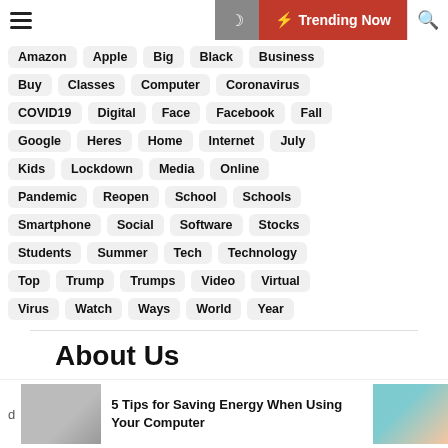Trending Now
Amazon
Apple
Big
Black
Business
Buy
Classes
Computer
Coronavirus
COVID19
Digital
Face
Facebook
Fall
Google
Heres
Home
Internet
July
Kids
Lockdown
Media
Online
Pandemic
Reopen
School
Schools
Smartphone
Social
Software
Stocks
Students
Summer
Tech
Technology
Top
Trump
Trumps
Video
Virtual
Virus
Watch
Ways
World
Year
About Us
5 Tips for Saving Energy When Using Your Computer